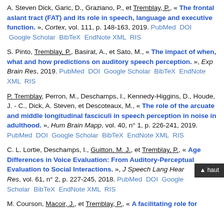A. Steven Dick, Garic, D., Graziano, P., et Tremblay, P., « The frontal aslant tract (FAT) and its role in speech, language and executive function. », Cortex, vol. 111, p. 148-163, 2019. PubMed DOI Google Scholar BibTeX EndNote XML RIS
S. Pinto, Tremblay, P., Basirat, A., et Sato, M., « The impact of when, what and how predictions on auditory speech perception. », Exp Brain Res, 2019. PubMed DOI Google Scholar BibTeX EndNote XML RIS
P. Tremblay, Perron, M., Deschamps, I., Kennedy-Higgins, D., Houde, J. - C., Dick, A. Steven, et Descoteaux, M., « The role of the arcuate and middle longitudinal fasciculi in speech perception in noise in adulthood. », Hum Brain Mapp, vol. 40, n° 1, p. 226-241, 2019. PubMed DOI Google Scholar BibTeX EndNote XML RIS
C. L. Lortie, Deschamps, I., Guitton, M. J., et Tremblay, P., « Age Differences in Voice Evaluation: From Auditory-Perceptual Evaluation to Social Interactions. », J Speech Lang Hear Res, vol. 61, n° 2, p. 227-245, 2018. PubMed DOI Google Scholar BibTeX EndNote XML RIS
M. Courson, Macoir, J., et Tremblay, P., « A facilitating role for